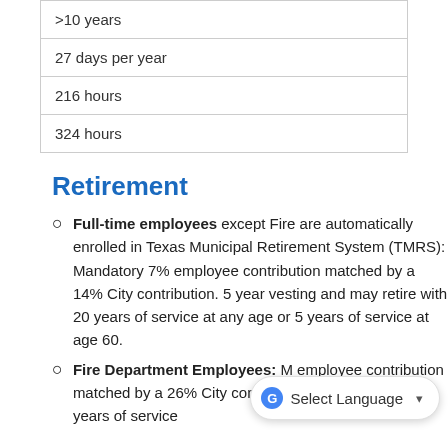| >10 years |
| 27 days per year |
| 216 hours |
| 324 hours |
Retirement
Full-time employees except Fire are automatically enrolled in Texas Municipal Retirement System (TMRS): Mandatory 7% employee contribution matched by a 14% City contribution. 5 year vesting and may retire with 20 years of service at any age or 5 years of service at age 60.
Fire Department Employees: [mandatory] employee contribution matched by a 26% City contribution. Age 55 and 25 years of service...